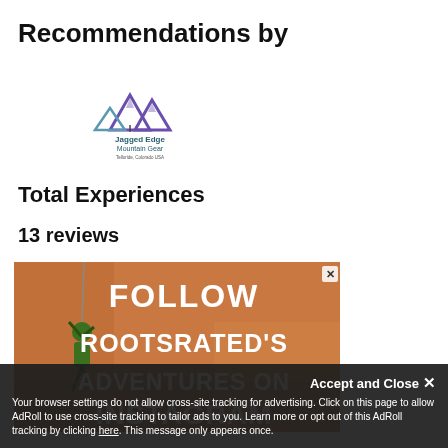Recommendations by
[Figure (logo): Jagged Edge Mountain Gear logo with mountain peaks in purple/blue and text 'Jagged Edge Mountain Gear, Telluride, Colorado USA']
Total Experiences
13 reviews
[Figure (infographic): Advertisement banner showing a rock climber on an orange cliff face with white text: FOLLOW ROOTSRATED'S ADVENTURES ON INSTAGRAM]
Your browser settings do not allow cross-site tracking for advertising. Click on this page to allow AdRoll to use cross-site tracking to tailor ads to you. Learn more or opt out of this AdRoll tracking by clicking here. This message only appears once.